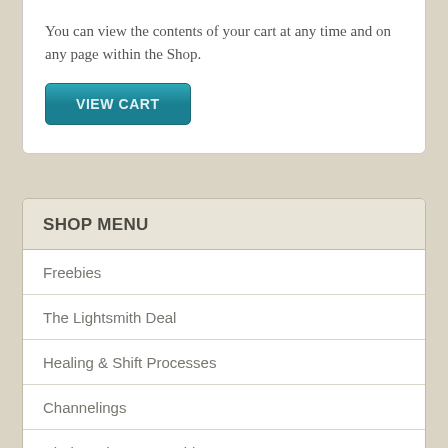You can view the contents of your cart at any time and on any page within the Shop.
[Figure (other): VIEW CART button — teal/blue gradient rectangular button with white text]
SHOP MENU
Freebies
The Lightsmith Deal
Healing & Shift Processes
Channelings
Chakra Classes on Video
Checkout